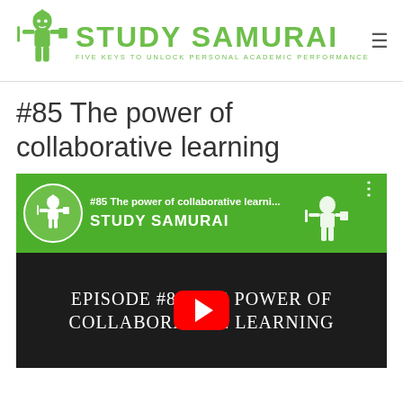STUDY SAMURAI — FIVE KEYS TO UNLOCK PERSONAL ACADEMIC PERFORMANCE
#85 The power of collaborative learning
[Figure (screenshot): YouTube video thumbnail for Study Samurai episode #85 'The power of collaborative learning'. Shows a green top bar with Study Samurai logo and video title, and a black bottom section with episode title text and a YouTube play button overlay.]